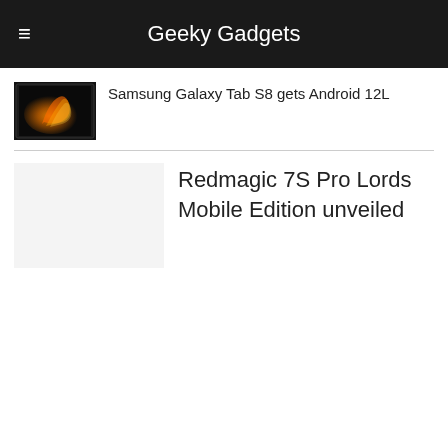Geeky Gadgets
[Figure (photo): Thumbnail image of Samsung Galaxy Tab S8 with dark abstract background showing orange/gold swirl pattern]
Samsung Galaxy Tab S8 gets Android 12L
Redmagic 7S Pro Lords Mobile Edition unveiled